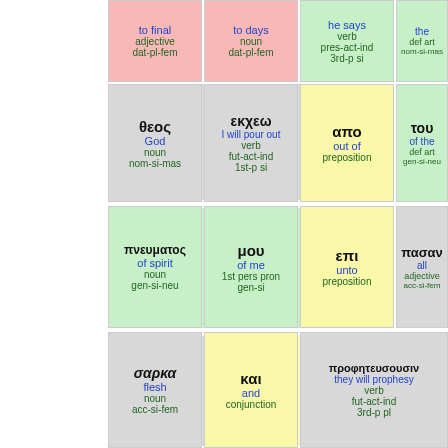| χ... / to final / adjective / dat-pl-fem | ημ... / to days / noun / dat-pl-fem | φη... / he says / verb / pres-act-ind 3rd-p si | ο / the / def art / nom-si-mas |
| θεος / God / noun / nom-si-mas | εκχεω / I will pour out / verb / fut-act-ind 1st-p si | απο / out of / preposition | του / of the / def art / gen-si-neu |
| πνευματος / of spirit / noun / gen-si-neu | μου / of me / 1st pers pron / gen-si | επι / unto / preposition | πασαν / all / adjective / acc-si-fem |
| σαρκα / flesh / noun / acc-si-fem | και / and / conjunction | προφητευσουσιν / they will prophesy / verb / fut-act-ind 3rd-p pl |  |
| οι / the / def art / nom-pl-mas | υιοι / sons / noun / nom-pl-mas | υμων / of you / 2nd pers pron / gen-pl | και / and / conjunction |